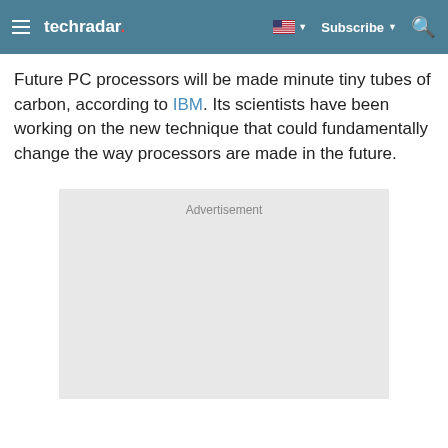techradar | Subscribe
Future PC processors will be made minute tiny tubes of carbon, according to IBM. Its scientists have been working on the new technique that could fundamentally change the way processors are made in the future.
[Figure (other): Advertisement placeholder box with gray background and 'Advertisement' label at top center]